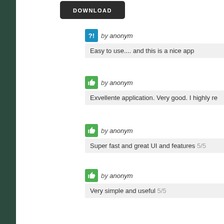[Figure (screenshot): Download button (dark/black rounded rectangle with 'DOWNLOAD' text in white caps)]
by anonym — Easy to use.... and this is a nice app
by anonym — Exvellente application. Very good. I highly re...
by anonym — Super fast and great UI and features 5/5
by anonym — Very simple and useful 5/5
by anonym — Good App for French verb conjugation I use...
by anonym